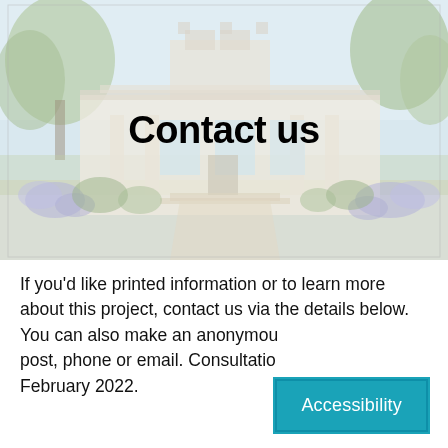[Figure (photo): Faded/washed-out photo of a historic white colonial-style building with columns and ornate architecture, surrounded by trees and purple flowering plants in the garden. A gravel pathway leads to the building entrance.]
Contact us
If you'd like printed information or to learn more about this project, contact us via the details below. You can also make an anonymous submission by post, phone or email. Consultation closes in February 2022.